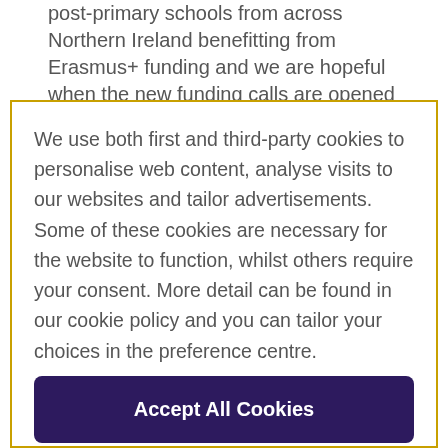post-primary schools from across Northern Ireland benefitting from Erasmus+ funding and we are hopeful when the new funding calls are opened in the autumn
We use both first and third-party cookies to personalise web content, analyse visits to our websites and tailor advertisements. Some of these cookies are necessary for the website to function, whilst others require your consent. More detail can be found in our cookie policy and you can tailor your choices in the preference centre.
Accept All Cookies
Cookies Settings